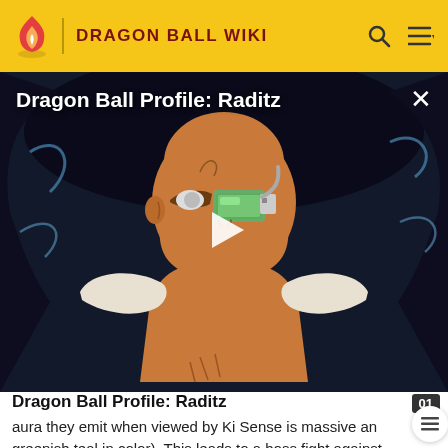DRAGON BALL WIKI
[Figure (screenshot): Dragon Ball anime screenshot showing Raditz character with scouter, dark background with blue energy. Overlaid with video player UI: title 'Dragon Ball Profile: Raditz', close button X, and play button triangle.]
Dragon Ball Profile: Raditz
aura they emit when viewed by Ki Sense is massive and greenish teal in color). This leads to a boss fight against the two Super Villainous Saiyans. After defeating them, it is revealed that the Demon Scientist Ta...